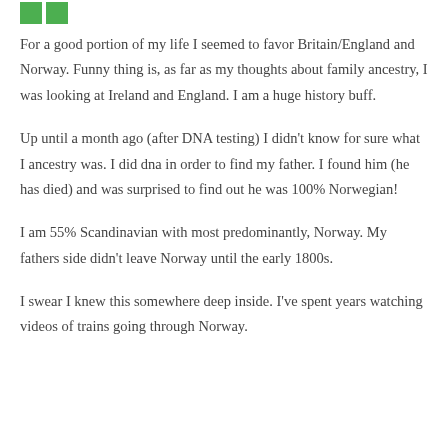[Figure (logo): Green icon/logo marks at the top left corner]
For a good portion of my life I seemed to favor Britain/England and Norway. Funny thing is, as far as my thoughts about family ancestry, I was looking at Ireland and England. I am a huge history buff.
Up until a month ago (after DNA testing) I didn't know for sure what I ancestry was. I did dna in order to find my father. I found him (he has died) and was surprised to find out he was 100% Norwegian!
I am 55% Scandinavian with most predominantly, Norway. My fathers side didn't leave Norway until the early 1800s.
I swear I knew this somewhere deep inside. I've spent years watching videos of trains going through Norway.